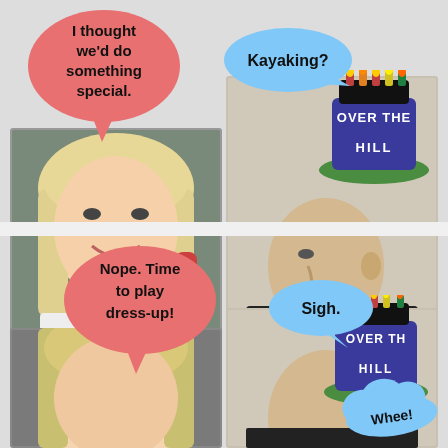[Figure (photo): Comic strip / meme with two people and speech bubbles. Top-left: woman with blonde hair blowing a party horn, smiling. Top-right: man in profile view wearing 'Over the Hill' novelty birthday hat with candles. Bottom-left: same woman, closer crop. Bottom-right: same man with hat. Speech bubbles: 'I thought we'd do something special.' (pink, top-left), 'Kayaking?' (blue, top-right), 'Nope. Time to play dress-up!' (pink, bottom-left), 'Sigh.' (blue, bottom-right), 'Whee!' (blue cloud, bottom-right).]